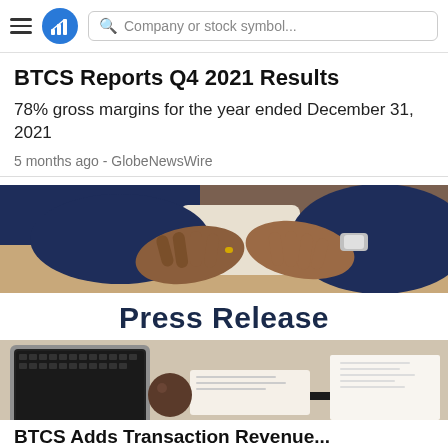Company or stock symbol...
BTCS Reports Q4 2021 Results
78% gross margins for the year ended December 31, 2021
5 months ago - GlobeNewsWire
[Figure (photo): Photo of hands clasped together on a desk, business setting]
Press Release
[Figure (photo): Photo of a laptop keyboard with a pen and notepad on a desk]
BTCS Adds Transaction Revenue...